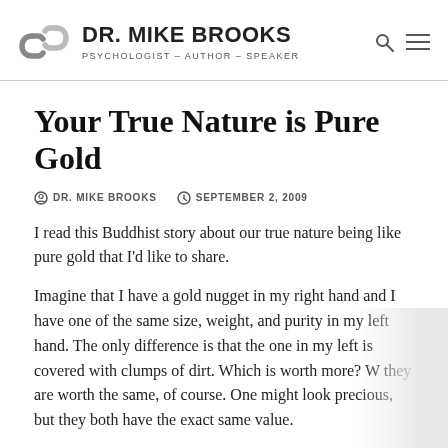DR. MIKE BROOKS — PSYCHOLOGIST – AUTHOR – SPEAKER
Your True Nature is Pure Gold
DR. MIKE BROOKS   SEPTEMBER 2, 2009
I read this Buddhist story about our true nature being like pure gold that I'd like to share.
Imagine that I have a gold nugget in my right hand and I have one of the same size, weight, and purity in my left hand. The only difference is that the one in my left is covered with clumps of dirt. Which is worth more? W they are worth the same, of course. One might look precious, but they both have the exact same value.